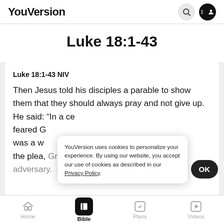YouVersion
Luke 18:1-43
Luke 18:1-43 NIV
Then Jesus told his disciples a parable to show them that they should always pray and not give up. He said: “In a ce… feared G… was a w… the plea, Grant me justice against my adversary. For
YouVersion uses cookies to personalize your experience. By using our website, you accept our use of cookies as described in our Privacy Policy.
Home  Bible  Plans  Videos